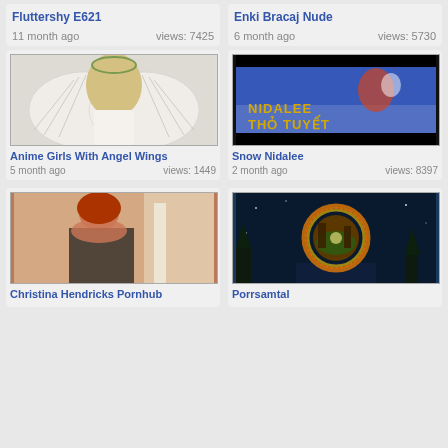Fluttershy E621
11 month ago    views: 7425
Enki Bracaj Nude
6 month ago    views: 5730
[Figure (illustration): Anime illustration of a girl with large angel wings and blonde hair, wearing a wreath]
Anime Girls With Angel Wings
5 month ago    views: 1449
[Figure (screenshot): Game screenshot showing Nidalee skin with text NIDALEE THO TUYET on dark background]
Snow Nidalee
2 month ago    views: 8397
[Figure (photo): Photo of Christina Hendricks]
Christina Hendricks Pornhub
[Figure (illustration): Fantasy illustration of a glowing portal orb in a snowy forest at night]
Porrsamtal